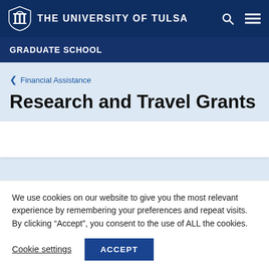THE UNIVERSITY OF TULSA
GRADUATE SCHOOL
< Financial Assistance
Research and Travel Grants
We use cookies on our website to give you the most relevant experience by remembering your preferences and repeat visits. By clicking "Accept", you consent to the use of ALL the cookies.
Cookie settings  ACCEPT